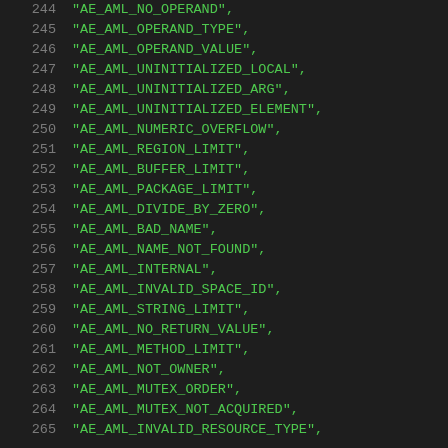244    "AE_AML_NO_OPERAND",
245    "AE_AML_OPERAND_TYPE",
246    "AE_AML_OPERAND_VALUE",
247    "AE_AML_UNINITIALIZED_LOCAL",
248    "AE_AML_UNINITIALIZED_ARG",
249    "AE_AML_UNINITIALIZED_ELEMENT",
250    "AE_AML_NUMERIC_OVERFLOW",
251    "AE_AML_REGION_LIMIT",
252    "AE_AML_BUFFER_LIMIT",
253    "AE_AML_PACKAGE_LIMIT",
254    "AE_AML_DIVIDE_BY_ZERO",
255    "AE_AML_BAD_NAME",
256    "AE_AML_NAME_NOT_FOUND",
257    "AE_AML_INTERNAL",
258    "AE_AML_INVALID_SPACE_ID",
259    "AE_AML_STRING_LIMIT",
260    "AE_AML_NO_RETURN_VALUE",
261    "AE_AML_METHOD_LIMIT",
262    "AE_AML_NOT_OWNER",
263    "AE_AML_MUTEX_ORDER",
264    "AE_AML_MUTEX_NOT_ACQUIRED",
265    "AE_AML_INVALID_RESOURCE_TYPE",